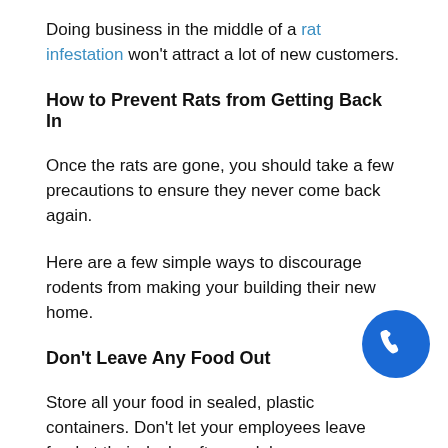Doing business in the middle of a rat infestation won't attract a lot of new customers.
How to Prevent Rats from Getting Back In
Once the rats are gone, you should take a few precautions to ensure they never come back again.
Here are a few simple ways to discourage rodents from making your building their new home.
Don't Leave Any Food Out
Store all your food in sealed, plastic containers. Don't let your employees leave food at their desks after work hours.
Go through the kitchen and clean up any crumbs or dirty dishes.